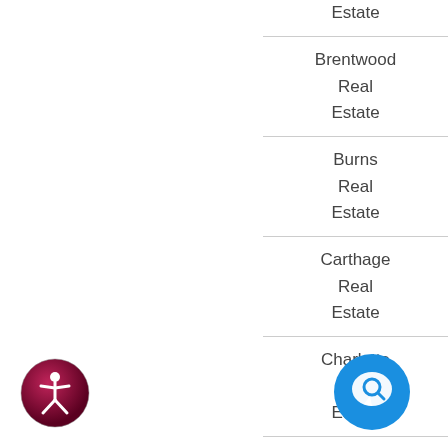Estate
Brentwood Real Estate
Burns Real Estate
Carthage Real Estate
Charlotte Real Estate
Clarksville Real Estate
[Figure (illustration): Accessibility icon: circular dark magenta/maroon button with white figure in universal accessibility pose]
[Figure (illustration): Chat/help icon: blue circle with white speech bubble and magnifying glass symbol]